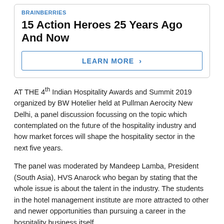BRAINBERRIES
15 Action Heroes 25 Years Ago And Now
LEARN MORE >
AT THE 4th Indian Hospitality Awards and Summit 2019 organized by BW Hotelier held at Pullman Aerocity New Delhi, a panel discussion focussing on the topic which contemplated on the future of the hospitality industry and how market forces will shape the hospitality sector in the next five years.
The panel was moderated by Mandeep Lamba, President (South Asia), HVS Anarock who began by stating that the whole issue is about the talent in the industry. The students in the hotel management institute are more attracted to other and newer opportunities than pursuing a career in the hospitality business itself.
The esteemed panellists were Dilip Puri, Founder and CEO, Indian School of Hospitality, Rattan Keswani, Deputy Managing Director, The Lemon Tree Hotels, Rohit Khosla, Executive Vice President, North and West India, IHCL, Sanjay